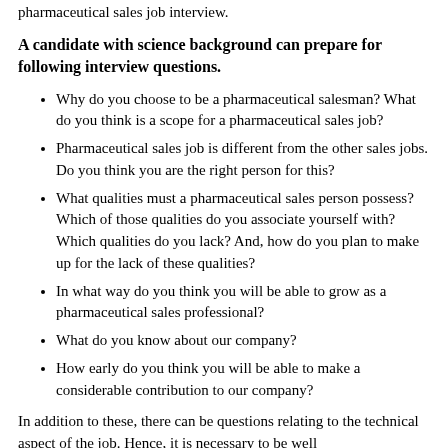pharmaceutical sales job interview.
A candidate with science background can prepare for following interview questions.
Why do you choose to be a pharmaceutical salesman? What do you think is a scope for a pharmaceutical sales job?
Pharmaceutical sales job is different from the other sales jobs. Do you think you are the right person for this?
What qualities must a pharmaceutical sales person possess? Which of those qualities do you associate yourself with? Which qualities do you lack? And, how do you plan to make up for the lack of these qualities?
In what way do you think you will be able to grow as a pharmaceutical sales professional?
What do you know about our company?
How early do you think you will be able to make a considerable contribution to our company?
In addition to these, there can be questions relating to the technical aspect of the job. Hence, it is necessary to be well